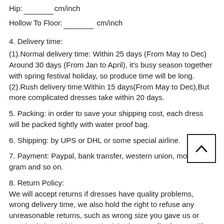Hip:________cm/inch
Hollow To Floor:_______ cm/inch
4. Delivery time:
(1).Normal delivery time: Within 25 days (From May to Dec)
Around 30 days (From Jan to April), it's busy season together with spring festival holiday, so produce time will be long.
(2).Rush delivery time:Within 15 days(From May to Dec),But more complicated dresses take within 20 days.
5. Packing: in order to save your shipping cost, each dress will be packed tightly with water proof bag.
6. Shipping: by UPS or DHL or some special airline.
[Figure (other): Back to top button with upward chevron arrow icon]
7. Payment: Paypal, bank transfer, western union, money gram and so on.
8. Return Policy:
We will accept returns if dresses have quality problems, wrong delivery time, we also hold the right to refuse any unreasonable returns, such as wrong size you gave us or standard size which we made right, but we offer free modify. Please see following for the list of quality issues that are fully refundable for: